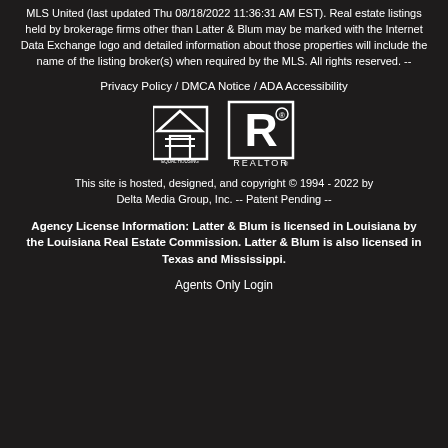MLS United (last updated Thu 08/18/2022 11:36:31 AM EST). Real estate listings held by brokerage firms other than Latter & Blum may be marked with the Internet Data Exchange logo and detailed information about those properties will include the name of the listing broker(s) when required by the MLS. All rights reserved. --
Privacy Policy / DMCA Notice / ADA Accessibility
[Figure (logo): Equal Housing Opportunity logo and REALTOR logo side by side]
This site is hosted, designed, and copyright © 1994 - 2022 by Delta Media Group, Inc. -- Patent Pending --
Agency License Information: Latter & Blum is licensed in Louisiana by the Louisiana Real Estate Commission. Latter & Blum is also licensed in Texas and Mississippi.
Agents Only Login